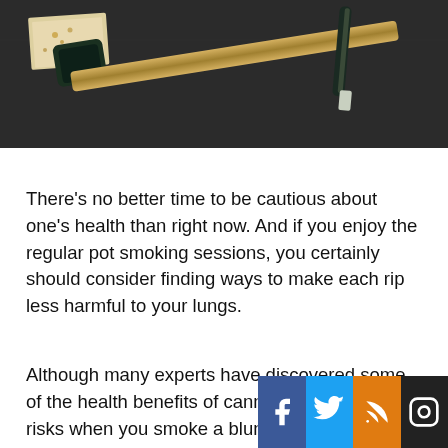[Figure (photo): Top-down photo of a dark desk surface with a gold/dark pipe and rolling papers with cannabis]
There's no better time to be cautious about one's health than right now. And if you enjoy the regular pot smoking sessions, you certainly should consider finding ways to make each rip less harmful to your lungs.
Although many experts have discovered some of the health benefits of cannabis, there are still risks when you smoke a blunt for recreation. If you're not careful, you might develop lung complications along the way.
For this reason, many cannabiseurs have taken the necessary precautions to protect themselves from these harmful effects by using filters and a mouthpiece to their
[Figure (infographic): Social media share bar with Facebook, Twitter, RSS, and Instagram icons overlaid at the bottom of the page]